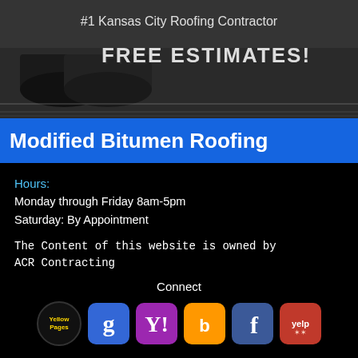[Figure (photo): Roofing materials (rolled bitumen) on a rooftop, with text overlay '#1 Kansas City Roofing Contractor' and 'FREE ESTIMATES!']
Modified Bitumen Roofing
Hours:
Monday through Friday 8am-5pm
Saturday: By Appointment
The Content of this website is owned by ACR Contracting
Connect
[Figure (logo): Social media icons: Yellow Pages, Google, Yahoo, Bing, Facebook, Yelp]
ACR Contracting LLC.
Overland Park KS
Phone: 913-257-3589
Web Development & SEO by: Kansas City Web Development